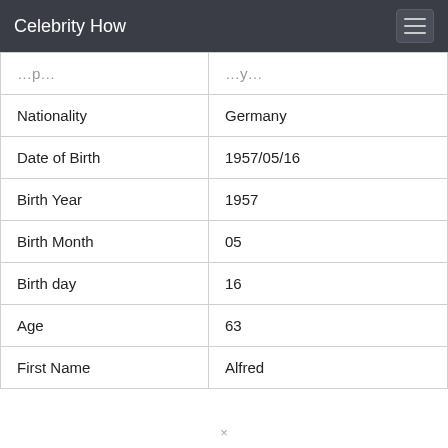Celebrity How
| [partial] | [partial] |
| Nationality | Germany |
| Date of Birth | 1957/05/16 |
| Birth Year | 1957 |
| Birth Month | 05 |
| Birth day | 16 |
| Age | 63 |
| First Name | Alfred |